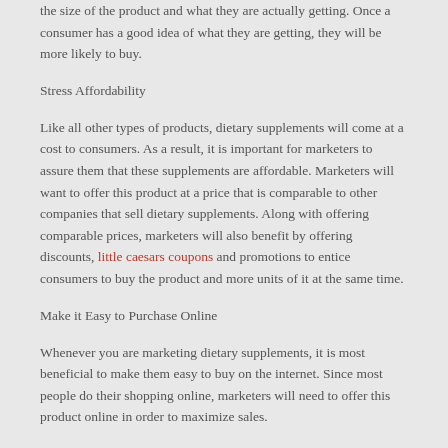the size of the product and what they are actually getting. Once a consumer has a good idea of what they are getting, they will be more likely to buy.
Stress Affordability
Like all other types of products, dietary supplements will come at a cost to consumers. As a result, it is important for marketers to assure them that these supplements are affordable. Marketers will want to offer this product at a price that is comparable to other companies that sell dietary supplements. Along with offering comparable prices, marketers will also benefit by offering discounts, little caesars coupons and promotions to entice consumers to buy the product and more units of it at the same time.
Make it Easy to Purchase Online
Whenever you are marketing dietary supplements, it is most beneficial to make them easy to buy on the internet. Since most people do their shopping online, marketers will need to offer this product online in order to maximize sales.